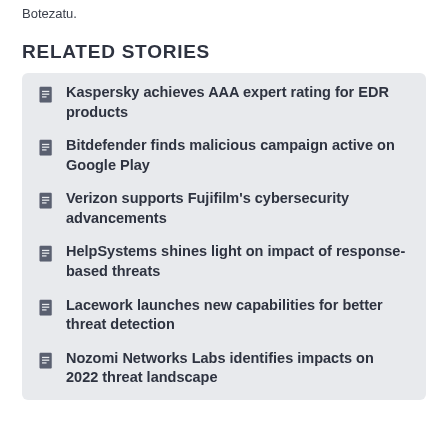Botezatu.
RELATED STORIES
Kaspersky achieves AAA expert rating for EDR products
Bitdefender finds malicious campaign active on Google Play
Verizon supports Fujifilm's cybersecurity advancements
HelpSystems shines light on impact of response-based threats
Lacework launches new capabilities for better threat detection
Nozomi Networks Labs identifies impacts on 2022 threat landscape